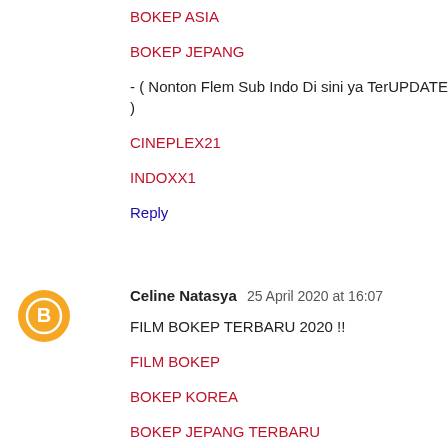BOKEP ASIA
BOKEP JEPANG
- ( Nonton Flem Sub Indo Di sini ya TerUPDATE )
CINEPLEX21
INDOXX1
Reply
Celine Natasya  25 April 2020 at 16:07
FILM BOKEP TERBARU 2020 !!
FILM BOKEP
BOKEP KOREA
BOKEP JEPANG TERBARU
BOKEP INDO